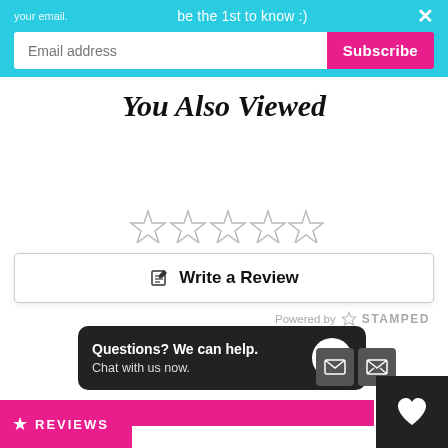your email.   be the 1st to know :)   ×
Email address   Subscribe
You Also Viewed
[Figure (other): Five empty star rating icons in a row]
✎  Write a Review
Powered by ✦ STAMPED
[Figure (other): Five gray filled star rating icons in a row]
Be the first to review this ite...
Questions? We can help. Chat with us now.
★ REVIEWS